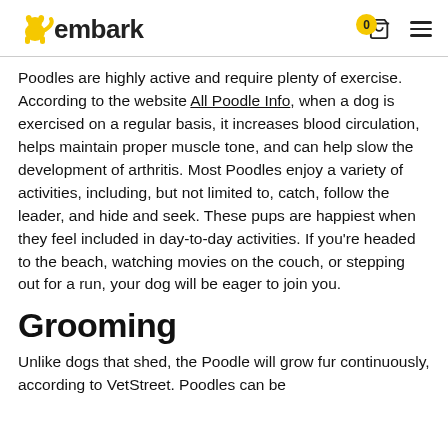embark
Poodles are highly active and require plenty of exercise. According to the website All Poodle Info, when a dog is exercised on a regular basis, it increases blood circulation, helps maintain proper muscle tone, and can help slow the development of arthritis. Most Poodles enjoy a variety of activities, including, but not limited to, catch, follow the leader, and hide and seek. These pups are happiest when they feel included in day-to-day activities. If you're headed to the beach, watching movies on the couch, or stepping out for a run, your dog will be eager to join you.
Grooming
Unlike dogs that shed, the Poodle will grow fur continuously, according to VetStreet. Poodles can be